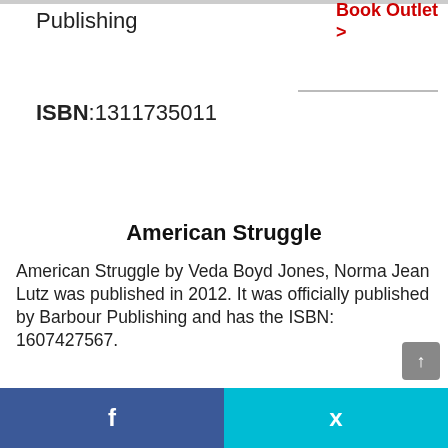Publishing
Book Outlet >
ISBN:1311735011
American Struggle
American Struggle by Veda Boyd Jones, Norma Jean Lutz was published in 2012. It was officially published by Barbour Publishing and has the ISBN: 1607427567.
Information provided with thanks to isbndb.com and unsplash.com
Author: Veda
f  [twitter bird icon]